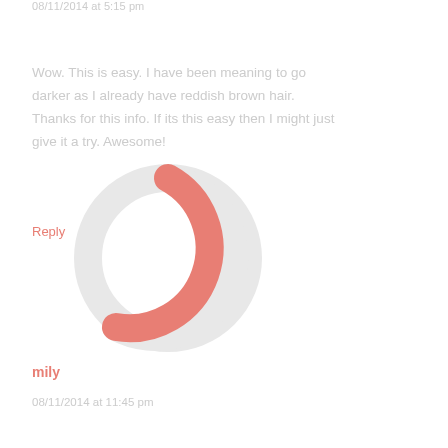08/11/2014 at 5:15 pm
Wow. This is easy. I have been meaning to go darker as I already have reddish brown hair. Thanks for this info. If its this easy then I might just give it a try. Awesome!
Reply
[Figure (donut-chart): A donut/loading spinner chart with a salmon/red arc covering approximately 25% of the circle, and the remaining 75% in light gray. The chart overlaps the comment text area.]
mily
08/11/2014 at 11:45 pm